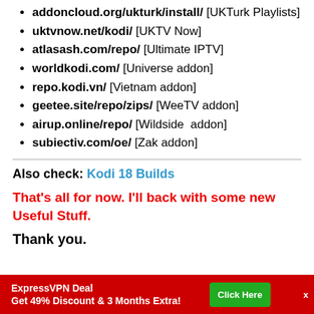addoncloud.org/ukturk/install/  [UKTurk Playlists]
uktvnow.net/kodi/   [UKTV Now]
atlasash.com/repo/   [Ultimate IPTV]
worldkodi.com/  [Universe addon]
repo.kodi.vn/   [Vietnam addon]
geetee.site/repo/zips/   [WeeTV addon]
airup.online/repo/  [Wildside  addon]
subiectiv.com/oe/   [Zak addon]
Also check: Kodi 18 Builds
That’s all for now.  I’ll back with some new Useful Stuff.
Thank you.
ExpressVPN Deal Get 49% Discount & 3 Months Extra!  Click Here  x